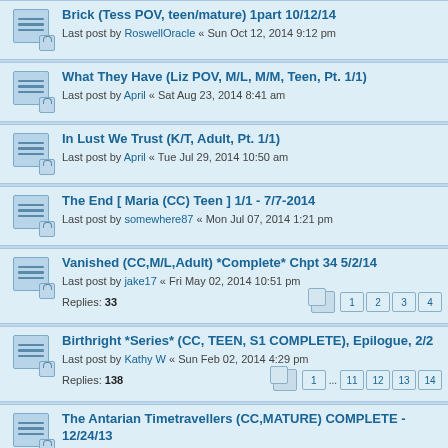Brick (Tess POV, teen/mature) 1part 10/12/14
Last post by RoswellOracle « Sun Oct 12, 2014 9:12 pm
What They Have (Liz POV, M/L, M/M, Teen, Pt. 1/1)
Last post by April « Sat Aug 23, 2014 8:41 am
In Lust We Trust (K/T, Adult, Pt. 1/1)
Last post by April « Tue Jul 29, 2014 10:50 am
The End [ Maria (CC) Teen ] 1/1 - 7/7-2014
Last post by somewhere87 « Mon Jul 07, 2014 1:21 pm
Vanished (CC,M/L,Adult) *Complete* Chpt 34 5/2/14
Last post by jake17 « Fri May 02, 2014 10:51 pm
Replies: 33
Pages: 1 2 3 4
Birthright *Series* (CC, TEEN, S1 COMPLETE), Epilogue, 2/2
Last post by Kathy W « Sun Feb 02, 2014 4:29 pm
Replies: 138
Pages: 1 ... 11 12 13 14
The Antarian Timetravellers (CC,MATURE) COMPLETE - 12/24/13
Last post by maipigen « Tue Dec 24, 2013 8:15 pm
Replies: 35
Pages: 1 2 3 4
Pull Me Through (CC,TEEN) COMPLETE
Last post by JanieD « Mon Sep 30, 2013 11:09 am
Replies: 11
Pages: 1 2
Unknown (CC/Max, YTEEN) Epilogue - 8/20 *COMPLETE*
Last post by Misha « Tue Aug 20, 2013 11:14 pm
Replies: 27